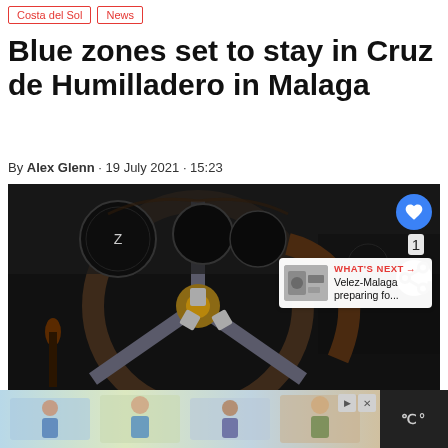Costa del Sol | News
Blue zones set to stay in Cruz de Humilladero in Malaga
By Alex Glenn · 19 July 2021 · 15:23
[Figure (photo): Close-up photograph of a vintage car steering wheel interior with gauges and dashboard in dark tones]
Blue zones set to stay in Cruz de Humilladero in Malaga Credit: Pixabay